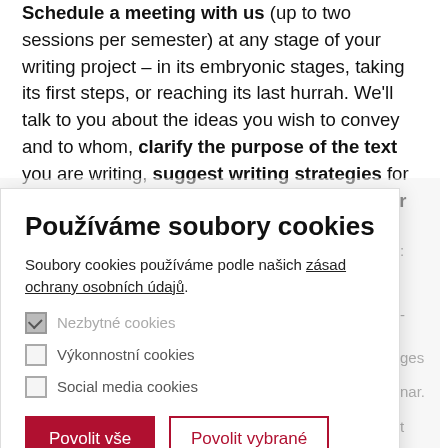Schedule a meeting with us (up to two sessions per semester) at any stage of your writing project – in its embryonic stages, taking its first steps, or reaching its last hurrah. We'll talk to you about the ideas you wish to convey and to whom, clarify the purpose of the text you are writing, suggest writing strategies for achieving this purpose, and guide you in your revisions.
[Figure (screenshot): Cookie consent dialog in Czech language with title 'Používáme soubory cookies', body text, checkboxes for Nezbytné cookies (checked/disabled), Výkonnostní cookies (unchecked), Social media cookies (unchecked), and two buttons: 'Povolit vše' (red filled) and 'Povolit vybrané' (red outline).]